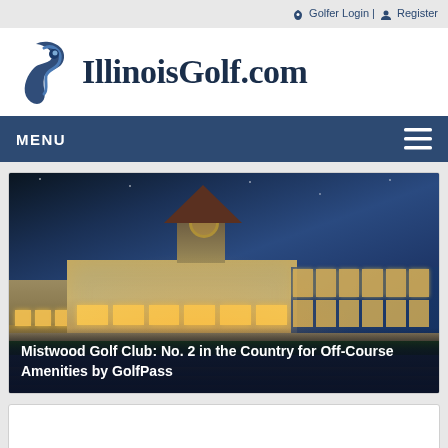Golfer Login | Register
[Figure (logo): IllinoisGolf.com logo with stylized golfer figure]
MENU
[Figure (photo): Mistwood Golf Club building at dusk, illuminated with warm lights, reflected in water]
Mistwood Golf Club: No. 2 in the Country for Off-Course Amenities by GolfPass